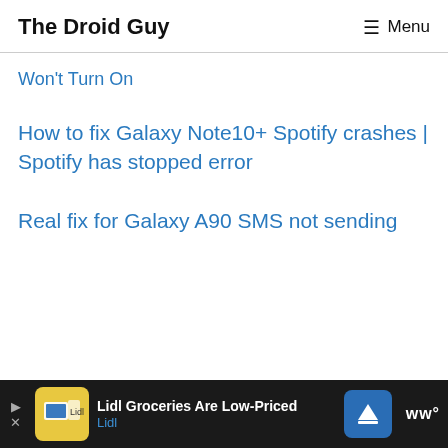The Droid Guy  ≡ Menu
Won't Turn On
How to fix Galaxy Note10+ Spotify crashes | Spotify has stopped error
Real fix for Galaxy A90 SMS not sending
Lidl Groceries Are Low-Priced  Lidl